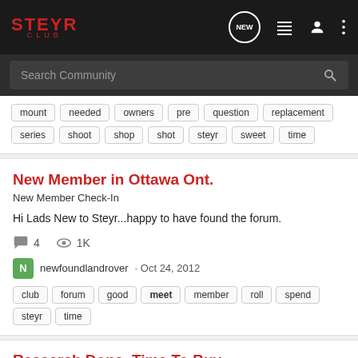STEYR CLUB
Search Community
mount  needed  owners  pre  question  replacement  series  shoot  shop  shot  steyr  sweet  time
New Member in Ottawa Ont.
New Member Check-In
Hi Lads New to Steyr...happy to have found the forum.
4  1K
newfoundlandrover · Oct 24, 2012
club  forum  good  meet  member  roll  spend  steyr  time
Research Done. Time To Buy.